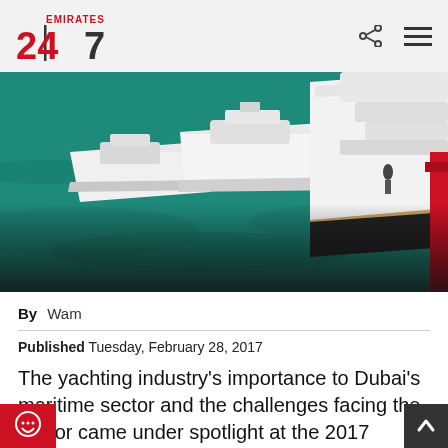Emirates 24|7
[Figure (photo): Aerial view of multiple white luxury yachts moored in turquoise water, with a red vessel visible at right edge]
By  Wam
Published Tuesday, February 28, 2017
The yachting industry's importance to Dubai's maritime sector and the challenges facing the sector came under spotlight at the 2017 Middle East Yachting Conference held today on Monday in Dubai